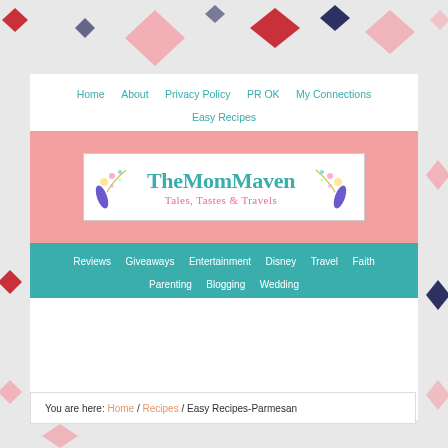[Figure (illustration): Decorative background pattern with diamond/rhombus shapes in red, pink, and dark navy colors scattered across the top and sides of the page]
Home   About   Privacy Policy   PR OK   My Connections   Easy Recipes
[Figure (logo): TheMomMaven logo with teal cursive text reading 'TheMomMaven' and subtitle 'Tales, Tastes & Travels' in pink, with decorative illustrations on each side, on white background inside a pink banner area]
Reviews   Giveaways   Entertainment   Disney   Travel   Faith   Parenting   Blogging   Wedding
You are here: Home / Recipes / Easy Recipes-Parmesan